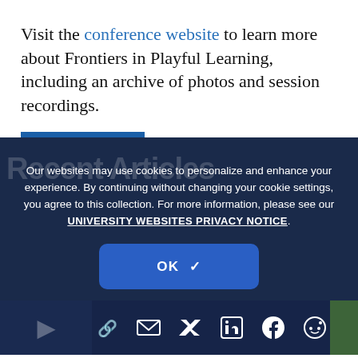Visit the conference website to learn more about Frontiers in Playful Learning, including an archive of photos and session recordings.
[Figure (screenshot): Cookie consent overlay on a dark navy background. Text reads: 'Our websites may use cookies to personalize and enhance your experience. By continuing without changing your cookie settings, you agree to this collection. For more information, please see our UNIVERSITY WEBSITES PRIVACY NOTICE.' with an OK button with checkmark. Below is a photo strip showing social sharing icons (link, email, Twitter, LinkedIn, Facebook, Reddit) and partial photos.]